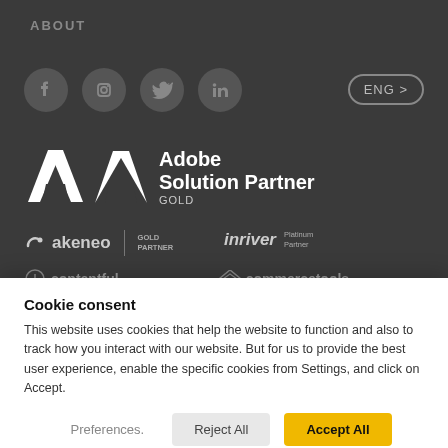ABOUT
[Figure (logo): Social media icons: Facebook, Instagram, Twitter, LinkedIn circles; ENG language button]
[Figure (logo): Adobe Solution Partner GOLD logo with Adobe stylized A mark]
[Figure (logo): Akeneo GOLD PARTNER logo]
[Figure (logo): inriver Platinum Partner logo]
[Figure (logo): contentful and commercetools logos partially visible at bottom]
Cookie consent
This website uses cookies that help the website to function and also to track how you interact with our website. But for us to provide the best user experience, enable the specific cookies from Settings, and click on Accept.
Preferences.  Reject All  Accept All